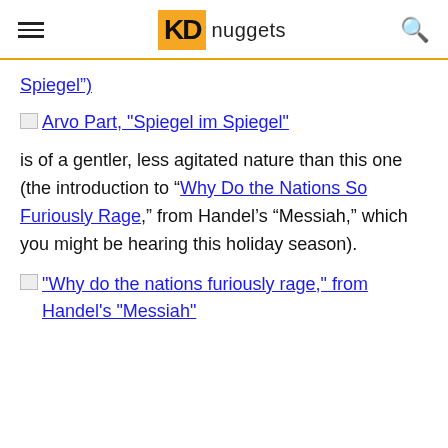KDnuggets
Spiegel”)
[Figure (other): Broken image placeholder next to link: Arvo Part, "Spiegel im Spiegel"]
is of a gentler, less agitated nature than this one (the introduction to “Why Do the Nations So Furiously Rage,” from Handel’s “Messiah,” which you might be hearing this holiday season).
[Figure (other): Broken image placeholder next to link: "Why do the nations furiously rage," from Handel's "Messiah"]